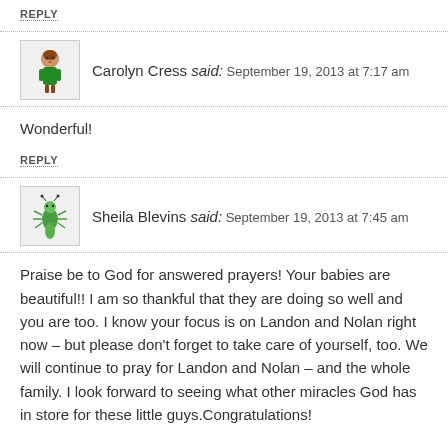REPLY
Carolyn Cress said: September 19, 2013 at 7:17 am
Wonderful!
REPLY
Sheila Blevins said: September 19, 2013 at 7:45 am
Praise be to God for answered prayers! Your babies are beautiful!! I am so thankful that they are doing so well and you are too. I know your focus is on Landon and Nolan right now – but please don't forget to take care of yourself, too. We will continue to pray for Landon and Nolan – and the whole family. I look forward to seeing what other miracles God has in store for these little guys.Congratulations!